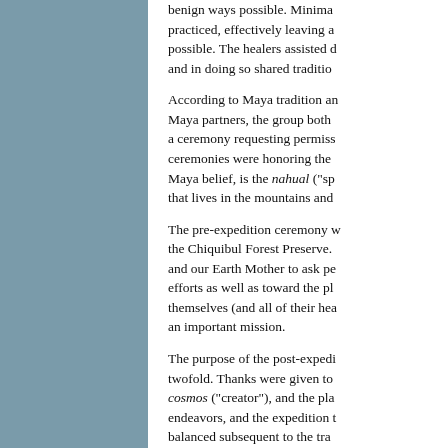benign ways possible. Minima practiced, effectively leaving a possible. The healers assisted d and in doing so shared traditio
According to Maya tradition a Maya partners, the group both a ceremony requesting permiss ceremonies were honoring the Maya belief, is the nahual ("sp that lives in the mountains and
The pre-expedition ceremony w the Chiquibul Forest Preserve. and our Earth Mother to ask pe efforts as well as toward the pl themselves (and all of their hea an important mission.
The purpose of the post-expedi twofold. Thanks were given to cosmos ("creator"), and the pla endeavors, and the expedition t balanced subsequent to the tra experienced.
Results and Discussion
The journey brought the team t and botanical niches. It was qu